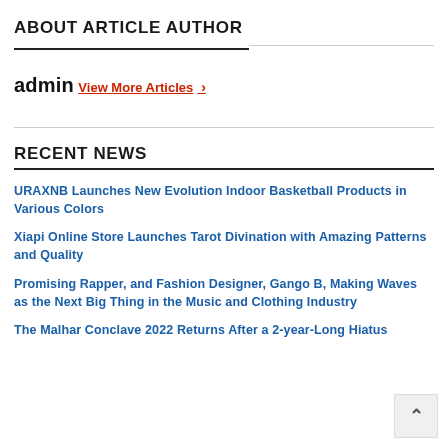ABOUT ARTICLE AUTHOR
admin
View More Articles ›
RECENT NEWS
URAXNB Launches New Evolution Indoor Basketball Products in Various Colors
Xiapi Online Store Launches Tarot Divination with Amazing Patterns and Quality
Promising Rapper, and Fashion Designer, Gango B, Making Waves as the Next Big Thing in the Music and Clothing Industry
The Malhar Conclave 2022 Returns After a 2-year-Long Hiatus